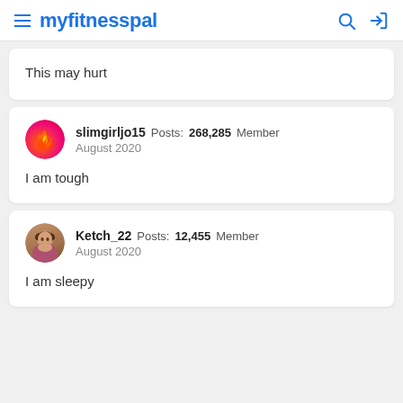myfitnesspal
This may hurt
slimgirljo15  Posts: 268,285  Member
August 2020

I am tough
Ketch_22  Posts: 12,455  Member
August 2020

I am sleepy